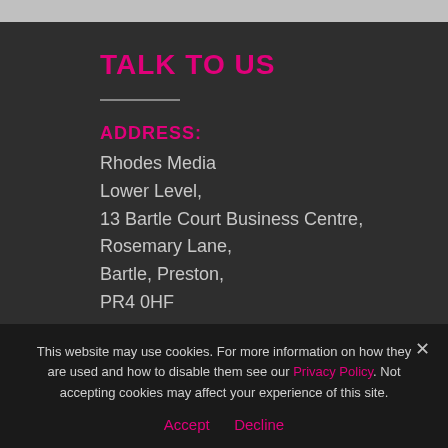TALK TO US
ADDRESS:
Rhodes Media
Lower Level,
13 Bartle Court Business Centre,
Rosemary Lane,
Bartle, Preston,
PR4 0HF
This website may use cookies. For more information on how they are used and how to disable them see our Privacy Policy. Not accepting cookies may affect your experience of this site.
Accept   Decline